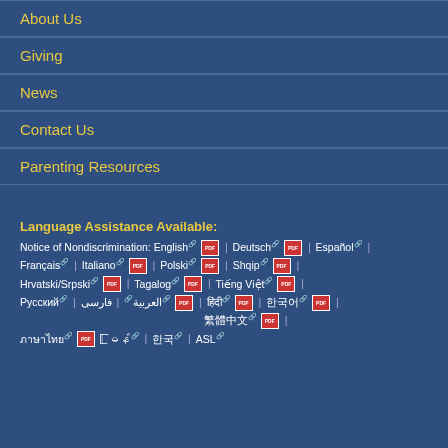About Us
Giving
News
Contact Us
Parenting Resources
Language Assistance Available:
Notice of Nondiscrimination: English | Deutsch | Español | Français | Italiano | Polski | Shqip | Hrvatski/Srpski | Tagalog | Tiếng Việt | Русский | العربية | فارسی | हिंदी | 한국어 | 繁體中文 | 正體中文 | ภาษาไทย | မြန်မာဘာသာ | ASL